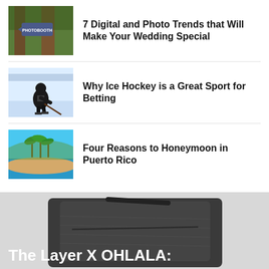[Figure (photo): Photobooth sign in forest with large trees]
7 Digital and Photo Trends that Will Make Your Wedding Special
[Figure (photo): Ice hockey player in black uniform skating with a stick]
Why Ice Hockey is a Great Sport for Betting
[Figure (photo): Tropical beach with palm trees and blue water in Puerto Rico]
Four Reasons to Honeymoon in Puerto Rico
[Figure (photo): Dark grey leather clutch bag on light grey background]
The Layer X OHLALA: